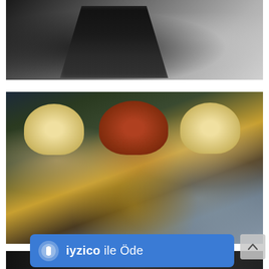[Figure (photo): Black and white photo of a black sparkly/sequined dress with ruffled hem, backstage fashion setting with blurred figures in background]
[Figure (photo): Color backstage fashion photo showing three female models with bowl-cut hairstyles: two blonde, one redhead. Left model in beige lace dress holding phone, center model in gold/black sequined dress, right model in pale blue textured dress. Shot from low angle.]
[Figure (photo): Partial view of another backstage photo at bottom of page, cut off]
iyzico ile Öde